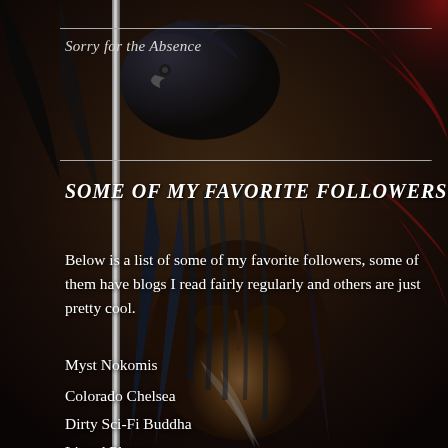[Figure (illustration): Dark fantasy illustration of an elderly bearded wizard/sorcerer figure with a staff, two ravens nearby, rendered in dark tones of black, deep blue, and red. Background depicts mythological or fantastical scene.]
Sorry for the Absence
SOME OF MY FAVORITE FOLLOWERS
Below is a list of some of my favorite followers, some of them have blogs I read fairly regularly and others are just pretty cool.
Myst Nokomis
Colorado Chelsea
Dirty Sci-Fi Buddha
Lizard Planet